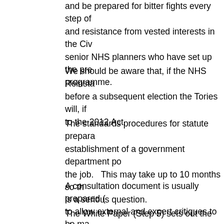and be prepared for bitter fights every step of the way and resistance from vested interests in the Civil Service, senior NHS planners who have set up the present programme.
We should be aware that, if the NHS Reinstatement Bill passes before a subsequent election the Tories will, if elected, revert to the 2012 Act.
The standards procedures for statute preparation require the establishment of a government department policy team to do the job. This may take up to 10 months so the timing is a serious question.
A consultation document is usually prepared (several months) to allow external and expert critiques to be made.
The White Paper (Step 5) sets out the clear policy of the government and provides the terms of reference for the drafting of the Bill by Parliamentary Counsel – acting under directions of the government department responsible.